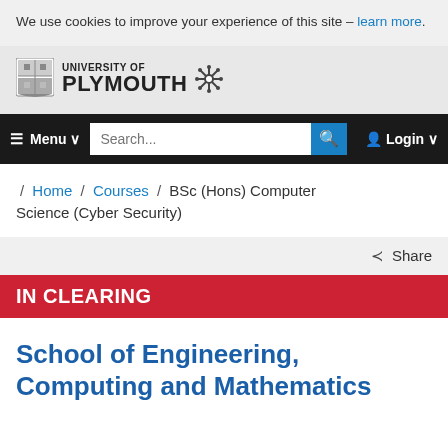We use cookies to improve your experience of this site – learn more.
[Figure (logo): University of Plymouth logo with shield crest and snowflake emblem]
[Figure (screenshot): Navigation bar with hamburger Menu, Search input field with search button, and Login button]
/ Home / Courses / BSc (Hons) Computer Science (Cyber Security)
Share
IN CLEARING
School of Engineering, Computing and Mathematics